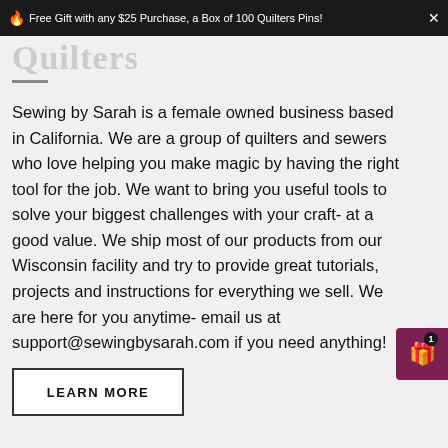Free Gift with any $25 Purchase, a Box of 100 Quilters Pins!
[Figure (logo): Quilters logo text in light gray with decorative underline]
Sewing by Sarah is a female owned business based in California. We are a group of quilters and sewers who love helping you make magic by having the right tool for the job. We want to bring you useful tools to solve your biggest challenges with your craft- at a good value. We ship most of our products from our Wisconsin facility and try to provide great tutorials, projects and instructions for everything we sell. We are here for you anytime- email us at support@sewingbysarah.com if you need anything!
LEARN MORE